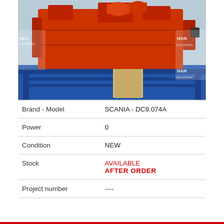[Figure (photo): Red industrial engine (Scania DC9.074A) mounted on a blue stand/rack, shown from the front-side angle. Background shows banners with 'OFA ENGINES' and 'HAN INDUSTRIAL' text.]
| Brand - Model | SCANIA - DC9.074A |
| Power | 0 |
| Condition | NEW |
| Stock | AVAILABLE
AFTER ORDER |
| Project number | ---- |